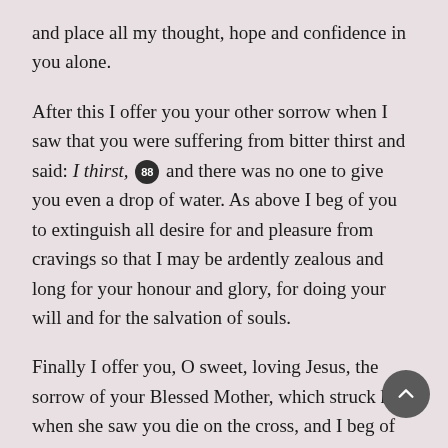and place all my thought, hope and confidence in you alone.
After this I offer you your other sorrow when I saw that you were suffering from bitter thirst and said: I thirst, [88] and there was no one to give you even a drop of water. As above I beg of you to extinguish all desire for and pleasure from cravings so that I may be ardently zealous and long for your honour and glory, for doing your will and for the salvation of souls.
Finally I offer you, O sweet, loving Jesus, the sorrow of your Blessed Mother, which struck her when she saw you die on the cross, and I beg of you again as I did before that you would grant me and all creatures to die to the world, to vice, to all concupiscence, to live only for you, so that you